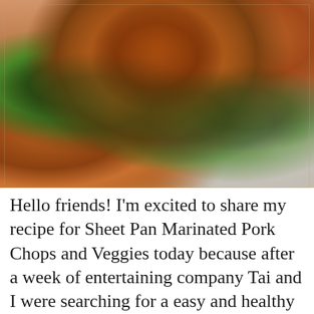[Figure (photo): A close-up food photograph of glazed pork chops on a white plate, surrounded by roasted broccoli florets and potato wedges. The pork chops are golden-brown and caramelized, with a bone visible. The vegetables are roasted and slightly charred.]
Hello friends! I'm excited to share my recipe for Sheet Pan Marinated Pork Chops and Veggies today because after a week of entertaining company Tai and I were searching for a easy and healthy dinner and we were incredibly happy to luck into this combo. The pork is savory and marinates